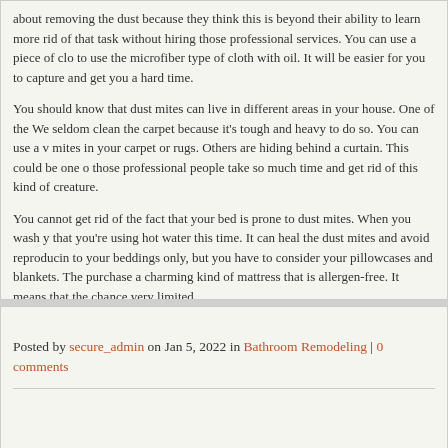about removing the dust because they think this is beyond their ability to learn more rid of that task without hiring those professional services. You can use a piece of cloth to use the microfiber type of cloth with oil. It will be easier for you to capture and get you a hard time.
You should know that dust mites can live in different areas in your house. One of the We seldom clean the carpet because it's tough and heavy to do so. You can use a v mites in your carpet or rugs. Others are hiding behind a curtain. This could be one o those professional people take so much time and get rid of this kind of creature.
You cannot get rid of the fact that your bed is prone to dust mites. When you wash y that you're using hot water this time. It can heal the dust mites and avoid reproducing to your beddings only, but you have to consider your pillowcases and blankets. The purchase a charming kind of mattress that is allergen-free. It means that the chance very limited.
It is also an excellent thing to wash your kids' stuffed toys. Some parents think they' believe it's beautiful, not clean it. You have to check the humidity level in your house services for your air conditioner.
Posted by secure_admin on Jan 5, 2022 in Bathroom Remodeling | 0 comments